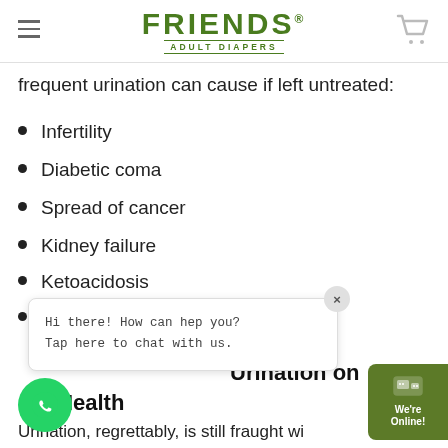FRIENDS ADULT DIAPERS
frequent urination can cause if left untreated:
Infertility
Diabetic coma
Spread of cancer
Kidney failure
Ketoacidosis
Shock
Hi there! How can hep you?
Tap here to chat with us.
Urination on Overall Health
Urination, regrettably, is still fraught wi...